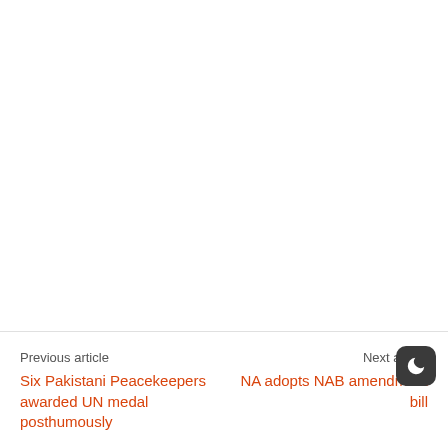Previous article
Six Pakistani Peacekeepers awarded UN medal posthumously
Next article
NA adopts NAB amendment bill